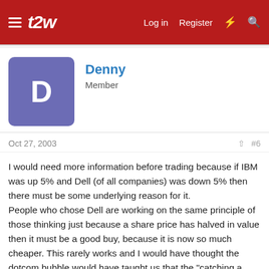t2w | Log in | Register
Denny
Member
Oct 27, 2003   #6
I would need more information before trading because if IBM was up 5% and Dell (of all companies) was down 5% then there must be some underlying reason for it.
People who chose Dell are working on the same principle of those thinking just because a share price has halved in value then it must be a good buy, because it is now so much cheaper. This rarely works and I would have thought the dotcom bubble would have taught us that the "catching a falling knife" principle can cause serious damage to your health.

Denny